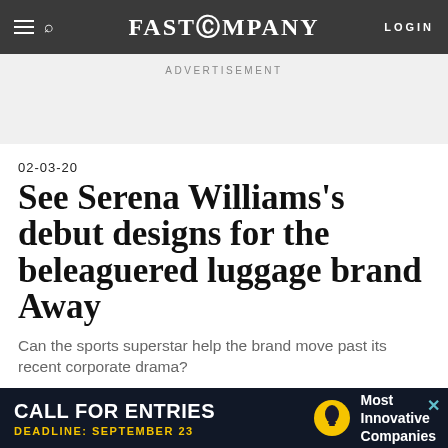FAST COMPANY
ADVERTISEMENT
02-03-20
See Serena Williams's debut designs for the beleaguered luggage brand Away
Can the sports superstar help the brand move past its recent corporate drama?
[Figure (photo): Partial photo visible at bottom of article, appears to show people or luggage]
CALL FOR ENTRIES DEADLINE: SEPTEMBER 23 Most Innovative Companies